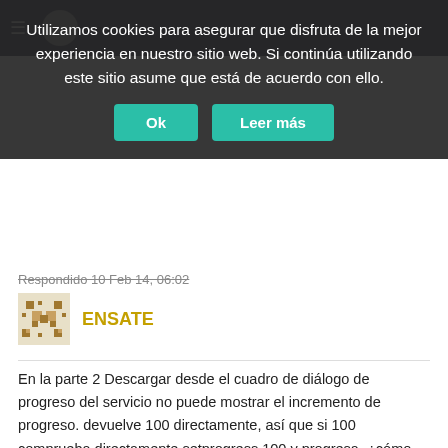Utilizamos cookies para asegurar que disfruta de la mejor experiencia en nuestro sitio web. Si continúa utilizando este sitio asume que está de acuerdo con ello.
Ok | Leer más
Respondido 10 Feb 14, 06:02
ENSATE
En la parte 2 Descargar desde el cuadro de diálogo de progreso del servicio no puede mostrar el incremento de progreso. devuelve 100 directamente, así que si 100 comprueba directamente setprogress 100 y progresa, ¿cómo incrementar el progreso? muestra solo 0 progreso pero en realidad descarga en ejecución - Nirav Mehta
muestra solo 0% de 100 solo otros funcionan correctamente - Nirav Mehta
¡No lo hagas! Hay Environment.getExternalStorageDirectory().getAb